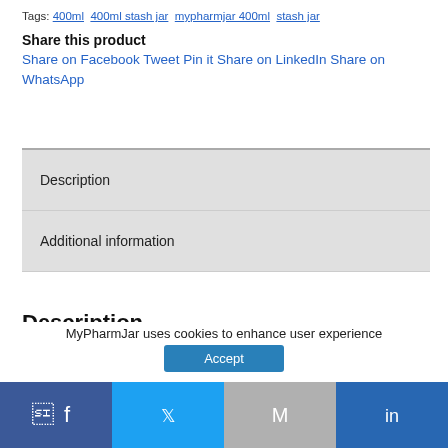Tags: 400ml  400ml stash jar  mypharmjar 400ml  stash jar
Share this product
Share on Facebook Tweet Pin it Share on LinkedIn Share on WhatsApp
Description
Additional information
Description
MyPharmJar uses cookies to enhance user experience
Accept